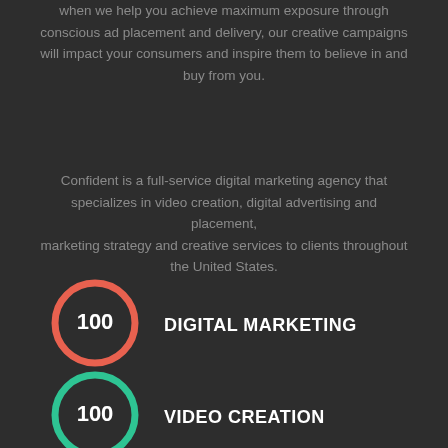when we help you achieve maximum exposure through conscious ad placement and delivery, our creative campaigns will impact your consumers and inspire them to believe in and buy from you.
Confident is a full-service digital marketing agency that specializes in video creation, digital advertising and placement, marketing strategy and creative services to clients throughout the United States.
[Figure (infographic): Red circle with '100' inside, next to 'DIGITAL MARKETING' label]
[Figure (infographic): Green circle with '100' inside, next to 'VIDEO CREATION' label]
[Figure (infographic): Blue circle with '100' inside, next to 'AD PLACEMENT' label]